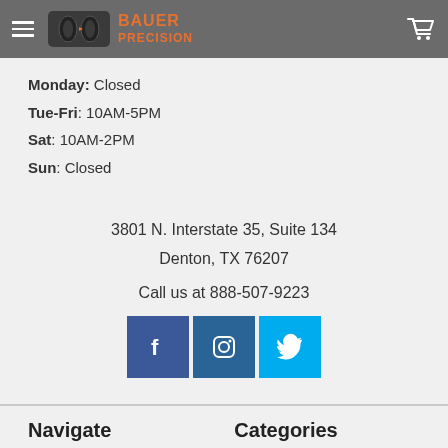[Figure (logo): Bauer Precision logo with hamburger menu and cart icon in gray header bar]
Monday: Closed
Tue-Fri: 10AM-5PM
Sat: 10AM-2PM
Sun: Closed
3801 N. Interstate 35, Suite 134
Denton, TX 76207
Call us at 888-507-9223
[Figure (infographic): Social media icons: Facebook (blue), Instagram (dark blue), Twitter (cyan)]
Navigate
Categories